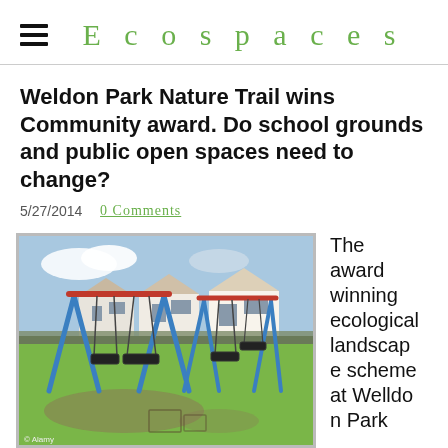Ecospaces
Weldon Park Nature Trail wins Community award. Do school grounds and public open spaces need to change?
5/27/2014  0 Comments
[Figure (photo): Photograph of a children's swing set with blue metal frames and a red top bar, situated on a grassy park area with houses visible in the background. Photo credit: © Alamy]
The award winning ecological landscape scheme at Welldon Park